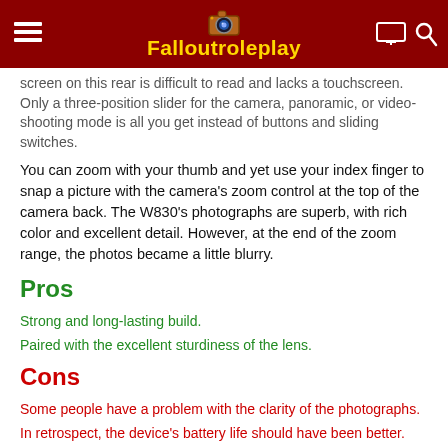Falloutroleplay
screen on this rear is difficult to read and lacks a touchscreen. Only a three-position slider for the camera, panoramic, or video-shooting mode is all you get instead of buttons and sliding switches.
You can zoom with your thumb and yet use your index finger to snap a picture with the camera's zoom control at the top of the camera back. The W830's photographs are superb, with rich color and excellent detail. However, at the end of the zoom range, the photos became a little blurry.
Pros
Strong and long-lasting build.
Paired with the excellent sturdiness of the lens.
Cons
Some people have a problem with the clarity of the photographs.
In retrospect, the device's battery life should have been better.